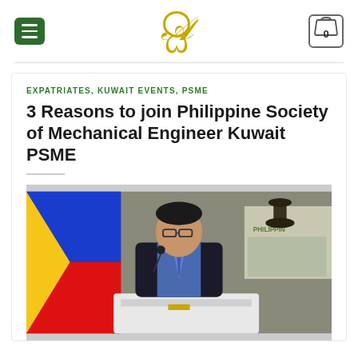Navigation header with menu button, logo, and cart icon
EXPATRIATES, KUWAIT EVENTS, PSME
3 Reasons to join Philippine Society of Mechanical Engineer Kuwait PSME
[Figure (photo): A man in a suit and glasses speaking at a podium with a microphone. A Philippine flag is visible on the left and a presentation screen on the right showing 'PHILIPPINE'.]